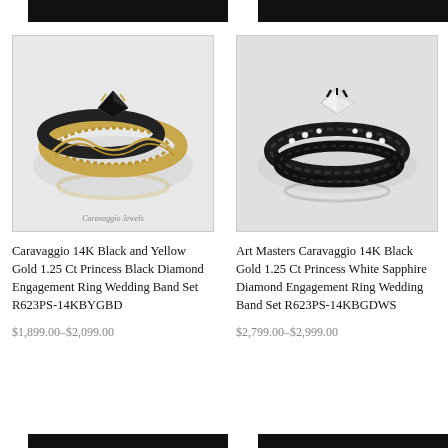[Figure (photo): Caravaggio 14K Black and Yellow Gold ring set with black diamond, ornate filigree design]
[Figure (photo): Art Masters Caravaggio 14K Black Gold ring set with white sapphire and diamonds, gothic style]
Caravaggio 14K Black and Yellow Gold 1.25 Ct Princess Black Diamond Engagement Ring Wedding Band Set R623PS-14KBYGBD
Art Masters Caravaggio 14K Black Gold 1.25 Ct Princess White Sapphire Diamond Engagement Ring Wedding Band Set R623PS-14KBGDWS
$1,899.00–$2,099.00
$2,799.00–$2,999.00